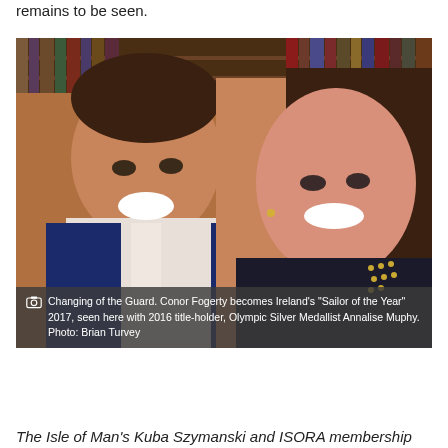remains to be seen.
[Figure (photo): Two people smiling in front of bookshelves. A man in a blue blazer on the left and a woman in a dark top on the right.]
Changing of the Guard. Conor Fogerty becomes Ireland's "Sailor of the Year" 2017, seen here with 2016 title-holder, Olympic Silver Medallist Annalise Muphy. Photo: Brian Turvey
The Isle of Man's Kuba Szymanski and ISORA membership